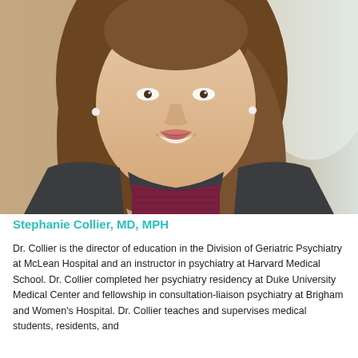[Figure (photo): Professional headshot of Stephanie Collier, MD, MPH — a smiling woman with long brown hair wearing pearl earrings, a dark blazer over a burgundy top, photographed against a soft beige/light background.]
Stephanie Collier, MD, MPH
Dr. Collier is the director of education in the Division of Geriatric Psychiatry at McLean Hospital and an instructor in psychiatry at Harvard Medical School. Dr. Collier completed her psychiatry residency at Duke University Medical Center and fellowship in consultation-liaison psychiatry at Brigham and Women's Hospital. Dr. Collier teaches and supervises medical students, residents, and